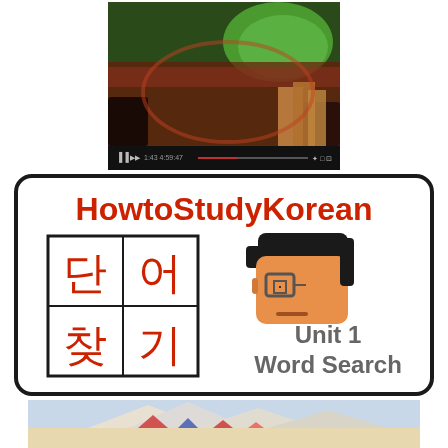[Figure (screenshot): Video thumbnail of a Korean baseball stadium with crowd and green field, with video player controls at the bottom]
[Figure (logo): HowtoStudyKorean word search logo with Korean characters 단어찾기 in a 2x2 grid, a pixel-art mascot face, and text 'Unit 1 Word Search']
[Figure (photo): Partial view of a mountain or tent scene at the bottom of the page]